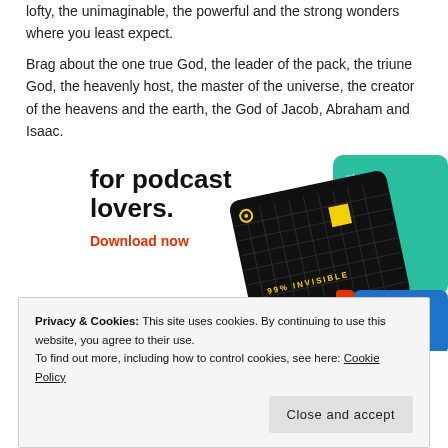lofty, the unimaginable, the powerful and the strong wonders where you least expect.
Brag about the one true God, the leader of the pack, the triune God, the heavenly host, the master of the universe, the creator of the heavens and the earth, the God of Jacob, Abraham and Isaac.
[Figure (infographic): Advertisement banner for a podcast app with the text 'for podcast lovers.' and a red 'Download now' link, alongside illustrated podcast artwork cards including '99% Invisible' on a black grid card, a teal card, and a blue card.]
Privacy & Cookies: This site uses cookies. By continuing to use this website, you agree to their use.
To find out more, including how to control cookies, see here: Cookie Policy